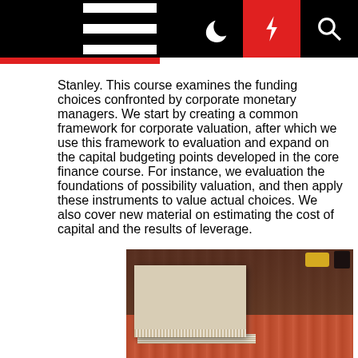[Navigation bar with home, menu, moon, lightning, search icons]
Stanley. This course examines the funding choices confronted by corporate monetary managers. We start by creating a common framework for corporate valuation, after which we use this framework to evaluation and expand on the capital budgeting points developed in the core finance course. For instance, we evaluation the foundations of possibility valuation, and then apply these instruments to value actual choices. We also cover new material on estimating the cost of capital and the results of leverage.
[Figure (photo): A stack of books or papers photographed on a wooden surface, showing a cream/beige covered book on top with colorful objects in the background.]